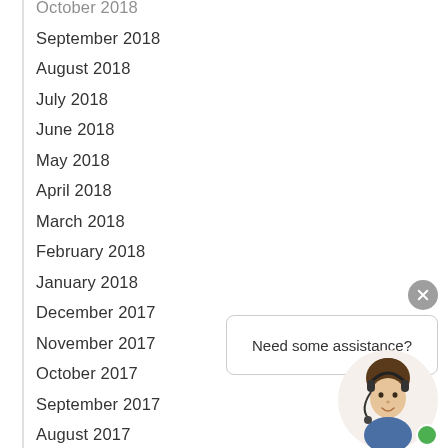October 2018
September 2018
August 2018
July 2018
June 2018
May 2018
April 2018
March 2018
February 2018
January 2018
December 2017
November 2017
October 2017
September 2017
August 2017
July 2017
[Figure (screenshot): Chat widget with close button (X), a speech bubble saying 'Need some assistance?', and a customer service representative avatar with a green online indicator dot.]